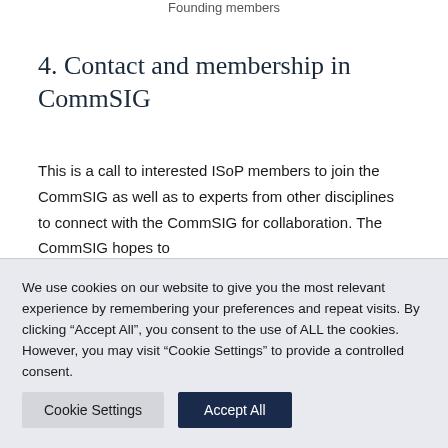Founding members
4. Contact and membership in CommSIG
This is a call to interested ISoP members to join the CommSIG as well as to experts from other disciplines to connect with the CommSIG for collaboration. The CommSIG hopes to
We use cookies on our website to give you the most relevant experience by remembering your preferences and repeat visits. By clicking "Accept All", you consent to the use of ALL the cookies. However, you may visit "Cookie Settings" to provide a controlled consent.
Cookie Settings   Accept All